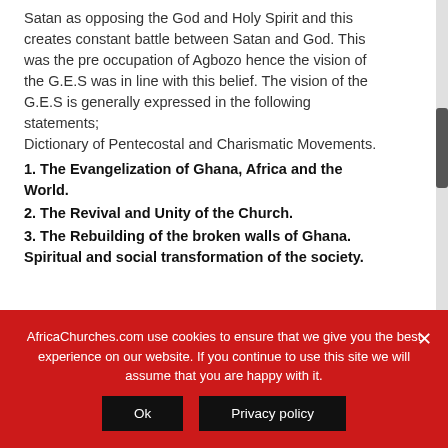Satan as opposing the God and Holy Spirit and this creates constant battle between Satan and God. This was the pre occupation of Agbozo hence the vision of the G.E.S was in line with this belief. The vision of the G.E.S is generally expressed in the following statements; Dictionary of Pentecostal and Charismatic Movements.
1. The Evangelization of Ghana, Africa and the World.
2. The Revival and Unity of the Church.
3. The Rebuilding of the broken walls of Ghana. Spiritual and social transformation of the society.
AfricaChurches.com use cookies to ensure that we give you the best experience on our website. If you continue to use this site we will assume that you are happy with it.